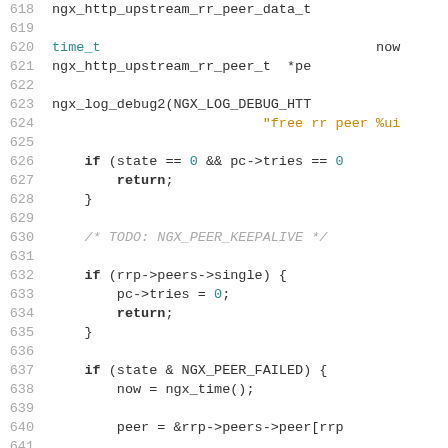[Figure (screenshot): Source code listing showing lines 618-647 of an nginx upstream round-robin peer C source file, with line numbers on the left and syntax-highlighted C code on the right.]